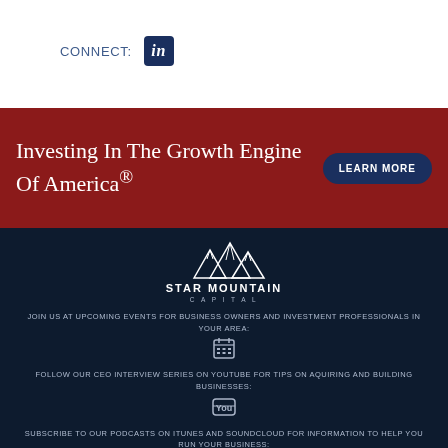CONNECT:
[Figure (logo): LinkedIn icon logo]
Investing In The Growth Engine Of America®
LEARN MORE
[Figure (logo): Star Mountain Capital logo with mountain graphic]
JOIN US AT UPCOMING EVENTS FOR BUSINESS OWNERS AND INVESTMENT PROFESSIONALS IN YOUR AREA:
[Figure (other): Calendar icon]
FOLLOW OUR CEO INTERVIEW SERIES ON YOUTUBE FOR TIPS ON AQUIRING AND BUILDING BUSINESSES:
[Figure (other): YouTube icon]
SUBSCRIBE TO OUR PODCASTS ON ITUNES AND SOUNDCLOUD FOR INFORMATION TO HELP YOU RUN YOUR BUSINESS: